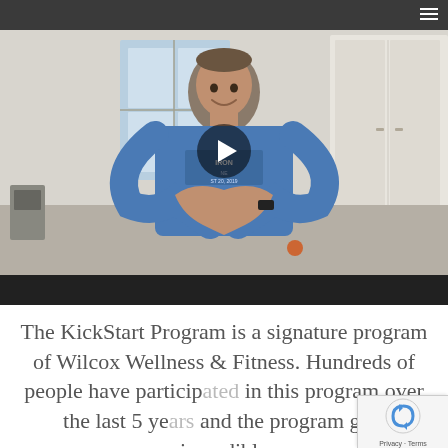[Figure (screenshot): A screenshot of a Facebook video titled 'QUARANTINE KickStart' showing a man in a blue Ironman t-shirt making a heart shape with his hands, standing in a room. A play button overlay is visible in the center of the video. The video has a top bar with a Facebook logo and title, and a dark bottom bar.]
The KickStart Program is a signature program of Wilcox Wellness & Fitness. Hundreds of people have participated in this program over the last 5 years and the program gets incredible